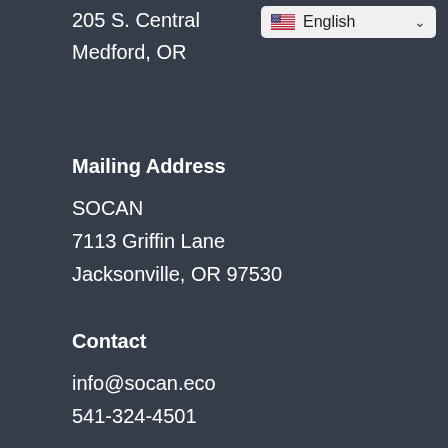205 S. Central
Medford, OR
[Figure (screenshot): Language selector button showing US flag and 'English' with dropdown chevron]
Mailing Address
SOCAN
7113 Griffin Lane
Jacksonville, OR 97530
Contact
info@socan.eco
541-324-4501
[Figure (other): Green 'Donate Now!' button]